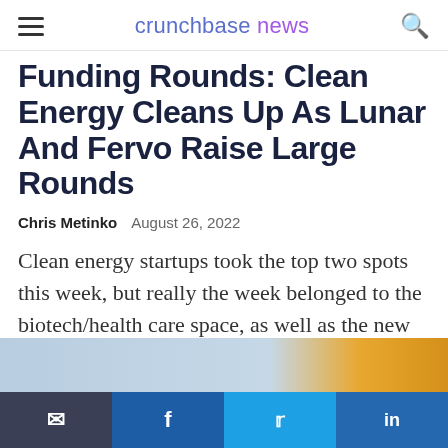crunchbase news
Funding Rounds: Clean Energy Cleans Up As Lunar And Fervo Raise Large Rounds
Chris Metinko   August 26, 2022
Clean energy startups took the top two spots this week, but really the week belonged to the biotech/health care space, as well as the new trend of...
[Figure (photo): Partial image strip at bottom of article, showing a light blue/sky background and orange/golden color on the right side]
Email | Facebook | Twitter | LinkedIn share bar